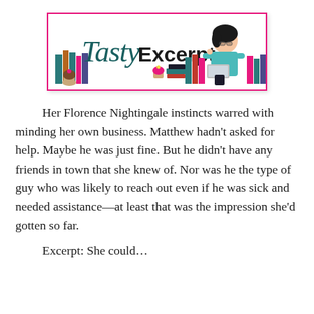[Figure (logo): Tasty Excerpt logo: script-style 'Tasty' in teal/dark teal cursive and bold 'Excerpt' in black sans-serif, surrounded by illustrated books, cupcakes, and a cartoon woman holding a laptop, all inside a pink-bordered rectangle.]
Her Florence Nightingale instincts warred with minding her own business. Matthew hadn’t asked for help. Maybe he was just fine. But he didn’t have any friends in town that she knew of. Nor was he the type of guy who was likely to reach out even if he was sick and needed assistance—at least that was the impression she’d gotten so far.
Excerpt: She could…